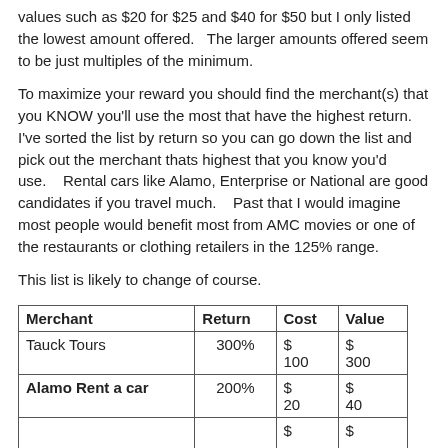values such as $20 for $25 and $40 for $50 but I only listed the lowest amount offered.   The larger amounts offered seem to be just multiples of the minimum.
To maximize your reward you should find the merchant(s) that you KNOW you'll use the most that have the highest return.  I've sorted the list by return so you can go down the list and pick out the merchant thats highest that you know you'd use.    Rental cars like Alamo, Enterprise or National are good candidates if you travel much.    Past that I would imagine most people would benefit most from AMC movies or one of the restaurants or clothing retailers in the 125% range.
This list is likely to change of course.
| Merchant | Return | Cost | Value |
| --- | --- | --- | --- |
| Tauck Tours | 300% | $
100 | $
300 |
| Alamo Rent a car | 200% | $
20 | $
40 |
|  |  | $ | $ |